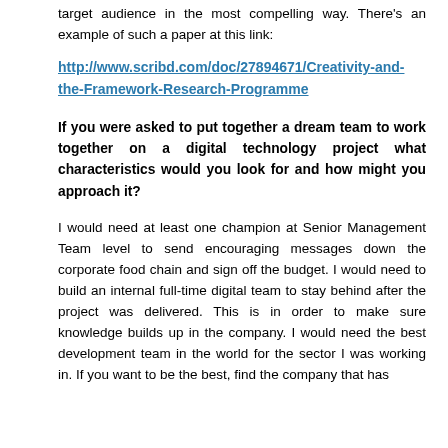target audience in the most compelling way. There's an example of such a paper at this link:
http://www.scribd.com/doc/27894671/Creativity-and-the-Framework-Research-Programme
If you were asked to put together a dream team to work together on a digital technology project what characteristics would you look for and how might you approach it?
I would need at least one champion at Senior Management Team level to send encouraging messages down the corporate food chain and sign off the budget. I would need to build an internal full-time digital team to stay behind after the project was delivered. This is in order to make sure knowledge builds up in the company. I would need the best development team in the world for the sector I was working in. If you want to be the best, find the company that has